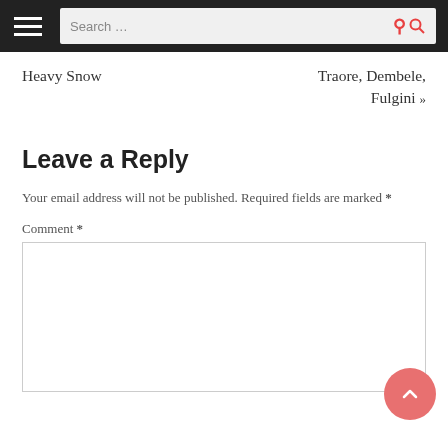Search ...
Heavy Snow
Traore, Dembele, Fulgini »
Leave a Reply
Your email address will not be published. Required fields are marked *
Comment *